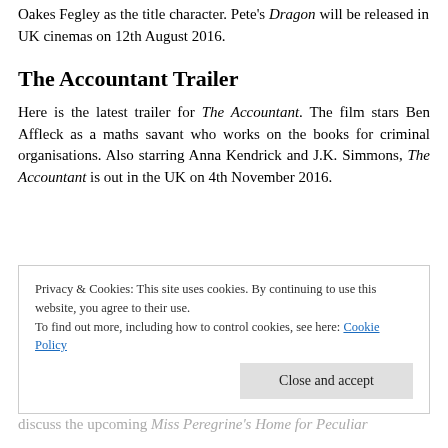Oakes Fegley as the title character. Pete's Dragon will be released in UK cinemas on 12th August 2016.
The Accountant Trailer
Here is the latest trailer for The Accountant. The film stars Ben Affleck as a maths savant who works on the books for criminal organisations. Also starring Anna Kendrick and J.K. Simmons, The Accountant is out in the UK on 4th November 2016.
Privacy & Cookies: This site uses cookies. By continuing to use this website, you agree to their use. To find out more, including how to control cookies, see here: Cookie Policy
Close and accept
discuss the upcoming Miss Peregrine's Home for Peculiar